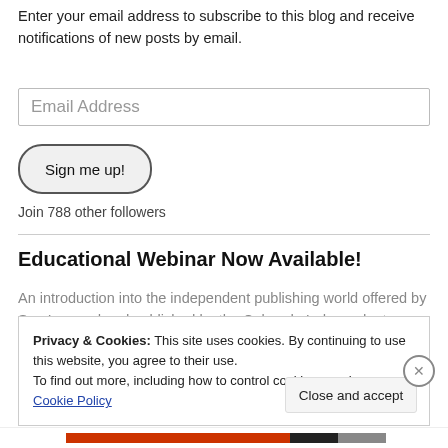Enter your email address to subscribe to this blog and receive notifications of new posts by email.
Email Address
Sign me up!
Join 788 other followers
Educational Webinar Now Available!
An introduction into the independent publishing world offered by Sue Leonard and published by the Colorado Independent Publishers
Privacy & Cookies: This site uses cookies. By continuing to use this website, you agree to their use.
To find out more, including how to control cookies, see here: Cookie Policy
Close and accept